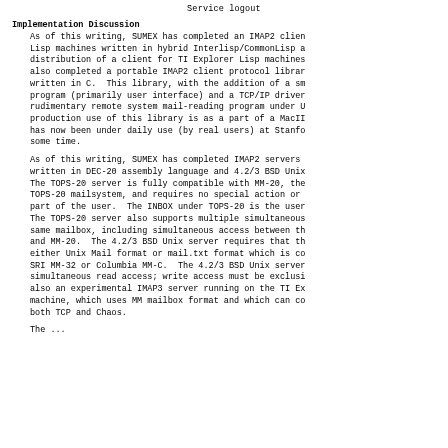Service logout
Implementation Discussion
As of this writing, SUMEX has completed an IMAP2 client for Lisp machines written in hybrid Interlisp/CommonLisp and is arranging distribution of a client for TI Explorer Lisp machines. SUMEX has also completed a portable IMAP2 client protocol library written in C. This library, with the addition of a small program (primarily user interface) and a TCP/IP driver, forms a rudimentary remote system mail-reading program under Unix. The production use of this library is as a part of a MacII project that has now been under daily use (by real users) at Stanford for some time.
As of this writing, SUMEX has completed IMAP2 servers written in DEC-20 assembly language and 4.2/3 BSD Unix. The TOPS-20 server is fully compatible with MM-20, the standard TOPS-20 mailsystem, and requires no special action or knowledge on the part of the user. The INBOX under TOPS-20 is the user's own mailbox. The TOPS-20 server also supports multiple simultaneous access to the same mailbox, including simultaneous access between the IMAP2 server and MM-20. The 4.2/3 BSD Unix server requires that the mailbox be in either Unix Mail format or mail.txt format which is compatible with SRI MM-32 or Columbia MM-C. The 4.2/3 BSD Unix server allows simultaneous read access; write access must be exclusive. There is also an experimental IMAP3 server running on the TI Explorer Lisp machine, which uses MM mailbox format and which can communicate over both TCP and Chaos.
The ...